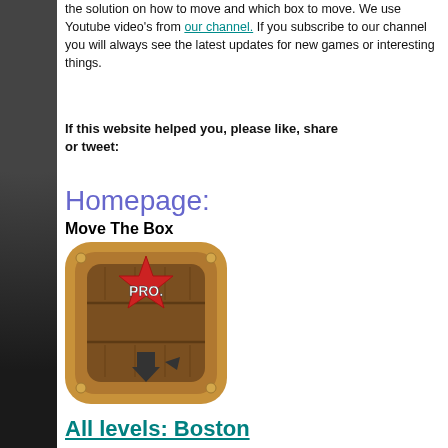the solution on how to move and which box to move. We use Youtube video's from our channel. If you subscribe to our channel you will always see the latest updates for new games or interesting things.
If this website helped you, please like, share or tweet:
Homepage:
Move The Box
[Figure (illustration): Move The Box PRO game app icon showing a wooden crate with a red star badge labeled PRO and upward arrows]
All levels: Boston
All levels: Osaka